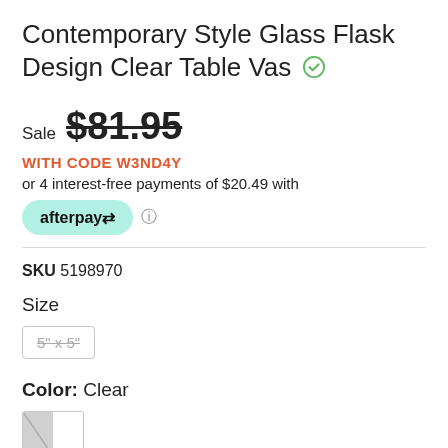Contemporary Style Glass Flask Design Clear Table Vas
Sale $81.95
WITH CODE W3ND4Y
or 4 interest-free payments of $20.49 with
afterpay
SKU 5198970
Size
5" x 5"
Color: Clear